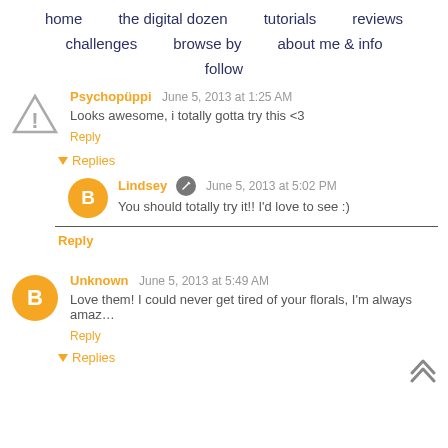home | the digital dozen | tutorials | reviews | challenges | browse by | about me & info | follow
Psychopüppi  June 5, 2013 at 1:25 AM
Looks awesome, i totally gotta try this <3
Reply
▾ Replies
Lindsey  June 5, 2013 at 5:02 PM
You should totally try it!! I'd love to see :)
Reply
Unknown  June 5, 2013 at 5:49 AM
Love them! I could never get tired of your florals, I'm always amaz
Reply
▾ Replies